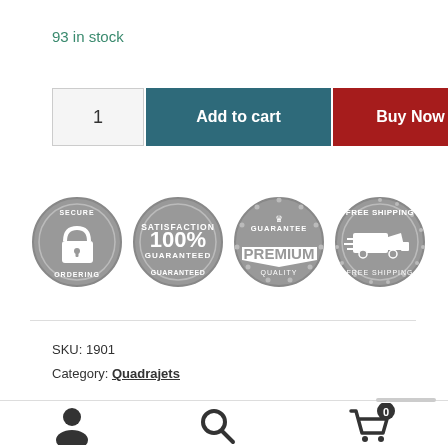93 in stock
[Figure (screenshot): E-commerce product page UI with quantity box showing '1', a teal 'Add to cart' button, and a dark red 'Buy Now' button]
[Figure (infographic): Four grey trust badge icons: Secure Ordering (padlock), Satisfaction 100% Guaranteed, Premium Quality Guarantee, Free Shipping]
SKU: 1901
Category: Quadrajets
[Figure (infographic): Footer navigation bar with person/account icon, search icon, and cart icon with badge showing 0]